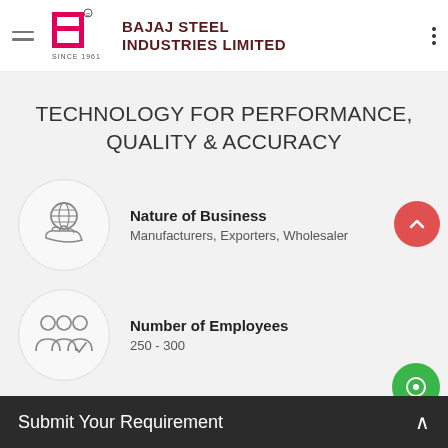[Figure (logo): Bajaj Steel Industries Limited logo with pink B icon and company name in dark red, 'SINCE 1961' tagline]
TECHNOLOGY FOR PERFORMANCE, QUALITY & ACCURACY
Nature of Business
Manufacturers, Exporters, Wholesaler
Number of Employees
250 - 300
Submit Your Requirement